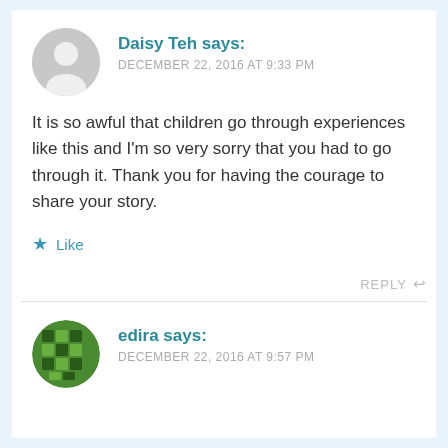Daisy Teh says:
DECEMBER 22, 2016 AT 9:33 PM
It is so awful that children go through experiences like this and I'm so very sorry that you had to go through it. Thank you for having the courage to share your story.
Like
REPLY
edira says:
DECEMBER 22, 2016 AT 9:57 PM